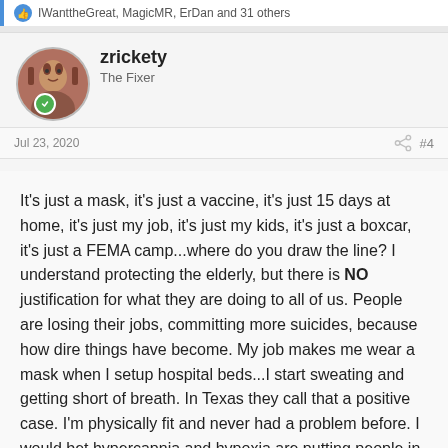IWanttheGreat, MagicMR, ErDan and 31 others
zrickety
The Fixer
Jul 23, 2020
#4
It's just a mask, it's just a vaccine, it's just 15 days at home, it's just my job, it's just my kids, it's just a boxcar, it's just a FEMA camp...where do you draw the line? I understand protecting the elderly, but there is NO justification for what they are doing to all of us. People are losing their jobs, committing more suicides, because how dire things have become. My job makes me wear a mask when I setup hospital beds...I start sweating and getting short of breath. In Texas they call that a positive case. I'm physically fit and never had a problem before. I would bet hypercapnia and hypoxia are putting people in the hospitals now. If lives really